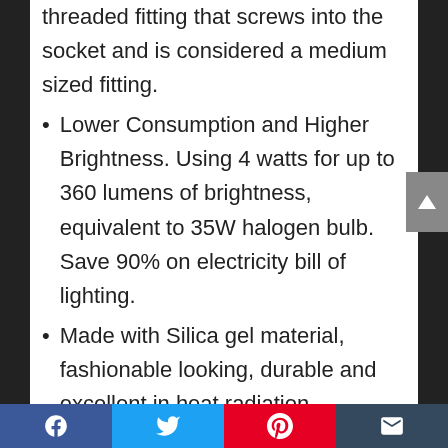threaded fitting that screws into the socket and is considered a medium sized fitting.
Lower Consumption and Higher Brightness. Using 4 watts for up to 360 lumens of brightness, equivalent to 35W halogen bulb. Save 90% on electricity bill of lighting.
Made with Silica gel material, fashionable looking, durable and excellent in heat radiation.
Mostly used in large Christmas lights, over counter microwave ovens, ceiling fan light fixtures, etc.